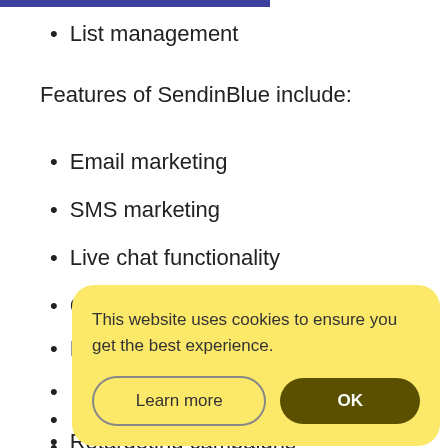List management
Features of SendinBlue include:
Email marketing
SMS marketing
Live chat functionality
CRM customer support tracking
Retargeting campaigns
[Figure (screenshot): Cookie consent dialog with yellow background. Text: 'This website uses cookies to ensure you get the best experience.' Two buttons: 'Learn more' (outlined) and 'OK' (dark olive filled).]